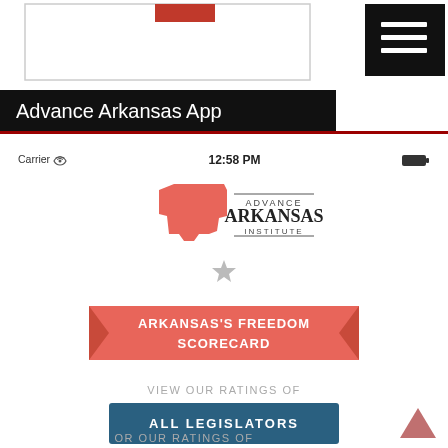[Figure (screenshot): Top portion of a website showing a partial logo/image inside a bordered box and a black hamburger menu button on the right]
Advance Arkansas App
[Figure (screenshot): Mobile phone screenshot of the Advance Arkansas Institute app showing: status bar with Carrier, 12:58 PM, battery; Advance Arkansas Institute logo with state silhouette; a star icon; a red ribbon banner reading ARKANSAS'S FREEDOM SCORECARD; text VIEW OUR RATINGS OF; a blue button reading ALL LEGISLATORS; and partial text OR OUR RATINGS OF]
OR OUR RATINGS OF